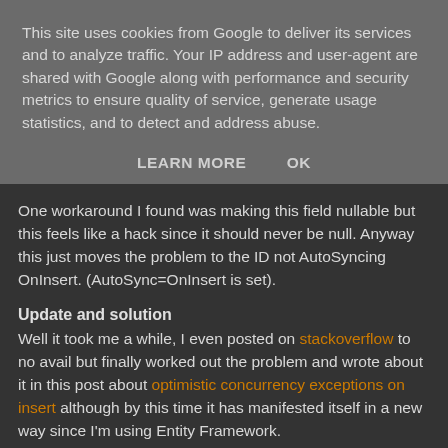This site uses cookies from Google to deliver its services and to analyze traffic. Your IP address and user-agent are shared with Google along with performance and security metrics to ensure quality of service, generate usage statistics, and to detect and address abuse.
LEARN MORE    OK
One workaround I found was making this field nullable but this feels like a hack since it should never be null. Anyway this just moves the problem to the ID not AutoSyncing OnInsert. (AutoSync=OnInsert is set).
Update and solution
Well it took me a while, I even posted on stackoverflow to no avail but finally worked out the problem and wrote about it in this post about optimistic concurrency exceptions on insert although by this time it has manifested itself in a new way since I'm using Entity Framework.
Colin Farr at Wednesday, April 21, 2010